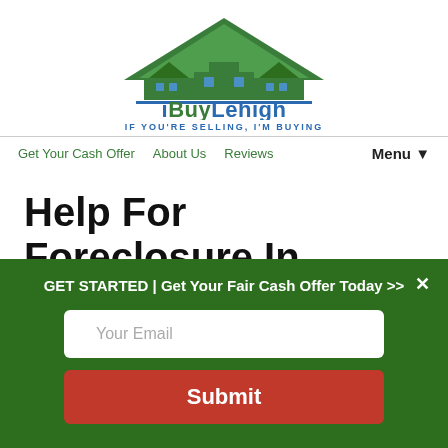[Figure (logo): iBuyLehigh logo - green house/roof icon above text 'iBuyLehigh' with tagline 'IF YOU'RE SELLING, I'M BUYING']
Get Your Cash Offer   About Us   Reviews   Menu ▼
Help For Foreclosure In Allentown – 3 Ways To
GET STARTED | Get Your Fair Cash Offer Today >>
Your Email
Submit